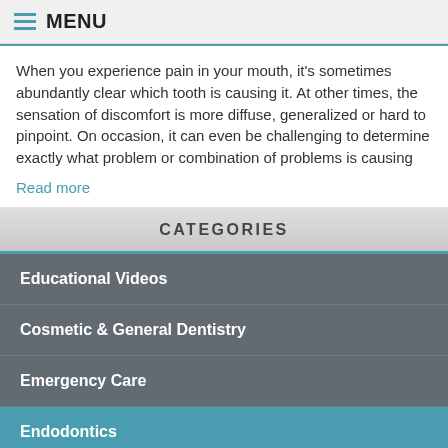MENU
When you experience pain in your mouth, it's sometimes abundantly clear which tooth is causing it. At other times, the sensation of discomfort is more diffuse, generalized or hard to pinpoint. On occasion, it can even be challenging to determine exactly what problem or combination of problems is causing
Read more
CATEGORIES
Educational Videos
Cosmetic & General Dentistry
Emergency Care
Endodontics